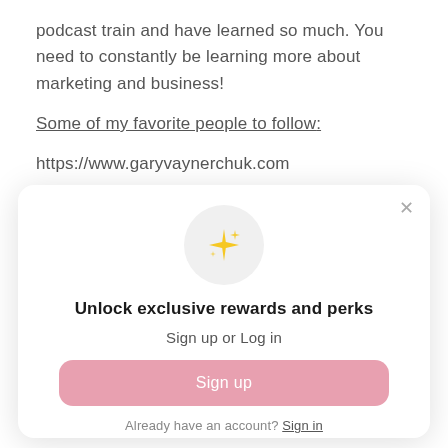podcast train and have learned so much. You need to constantly be learning more about marketing and business!
Some of my favorite people to follow:
https://www.garyvaynerchuk.com
[Figure (screenshot): A modal dialog with a sparkle/star emoji icon in a light gray circle, bold heading 'Unlock exclusive rewards and perks', subtext 'Sign up or Log in', a pink rounded 'Sign up' button, and footer text 'Already have an account? Sign in'. A close (×) button is in the top-right corner.]